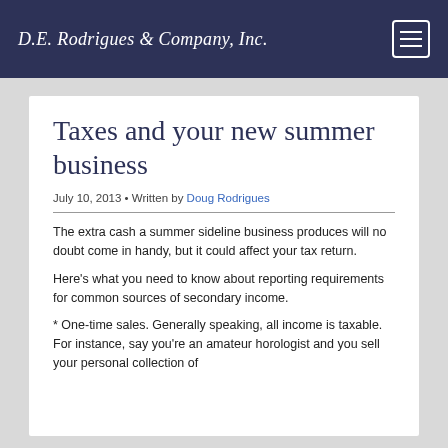D.E. Rodrigues & Company, Inc.
Taxes and your new summer business
July 10, 2013 • Written by Doug Rodrigues
The extra cash a summer sideline business produces will no doubt come in handy, but it could affect your tax return.
Here's what you need to know about reporting requirements for common sources of secondary income.
* One-time sales. Generally speaking, all income is taxable. For instance, say you're an amateur horologist and you sell your personal collection of